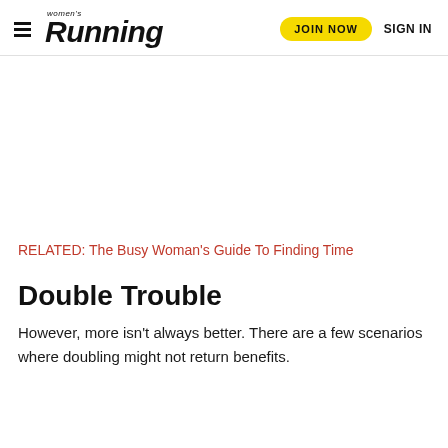women's Running | JOIN NOW | SIGN IN
[Figure (other): Blank advertisement space]
RELATED: The Busy Woman's Guide To Finding Time
Double Trouble
However, more isn't always better. There are a few scenarios where doubling might not return benefits.